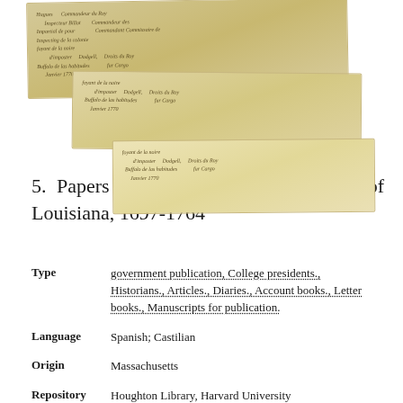[Figure (photo): Stacked overlapping historical manuscript documents with handwritten cursive text in brown ink on aged yellowish-brown paper]
5.  Papers relating to the early settlements of Louisiana, 1697-1764
Type   government publication, College presidents., Historians., Articles., Diaries., Account books., Letter books., Manuscripts for publication.
Language   Spanish; Castilian
Origin   Massachusetts
Repository   Houghton Library, Harvard University